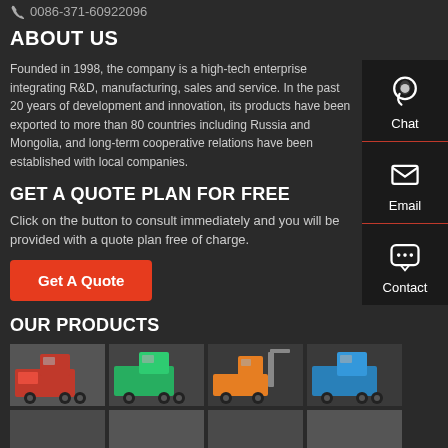0086-371-60922096
ABOUT US
Founded in 1998, the company is a high-tech enterprise integrating R&D, manufacturing, sales and service. In the past 20 years of development and innovation, its products have been exported to more than 80 countries including Russia and Mongolia, and long-term cooperative relations have been established with local companies.
GET A QUOTE PLAN FOR FREE
Click on the button to consult immediately and you will be provided with a quote plan free of charge.
Get A Quote
OUR PRODUCTS
[Figure (photo): Four truck images in a row: red dump truck, green dump truck, orange truck with crane, blue dump truck]
[Figure (photo): Second row of truck images partially visible]